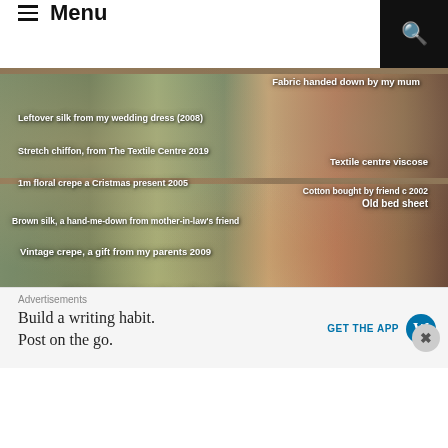Menu
[Figure (photo): A fabric stash cupboard with shelves full of folded fabrics, labeled with handwritten-style white text annotations: 'Fabric handed down by my mum', 'Leftover silk from my wedding dress (2008)', 'Stretch chiffon, from The Textile Centre 2019', 'Textile centre viscose', '1m floral crepe a Cristmas present 2005', 'Cotton bought by friend c 2002', 'Old bed sheet', 'Brown silk, a hand-me-down from mother-in-law's friend', 'Vintage crepe, a gift from my parents 2009', 'African wax bought online 2016', 'Ripstop for kids waterproofs', 'Mostly hand me downs, from my mum and gran', 'IKEA table cloth']
Advertisements
Build a writing habit.
Post on the go.
GET THE APP